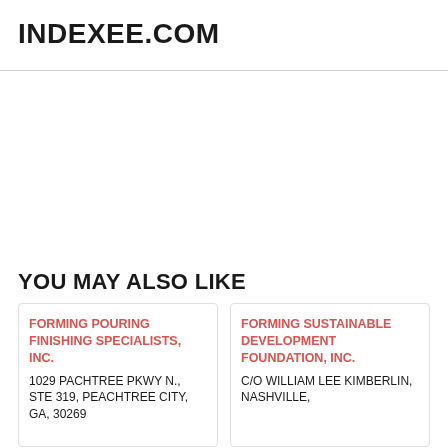INDEXEE.COM
YOU MAY ALSO LIKE
FORMING POURING FINISHING SPECIALISTS, INC.
1029 PACHTREE PKWY N., STE 319, PEACHTREE CITY, GA, 30269
FORMING SUSTAINABLE DEVELOPMENT FOUNDATION, INC.
C/O WILLIAM LEE KIMBERLIN, NASHVILLE,